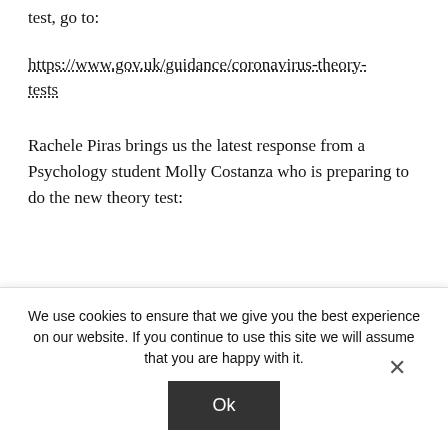test, go to:
https://www.gov.uk/guidance/coronavirus-theory-tests
Rachele Piras brings us the latest response from a Psychology student Molly Costanza who is preparing to do the new theory test:
We use cookies to ensure that we give you the best experience on our website. If you continue to use this site we will assume that you are happy with it.